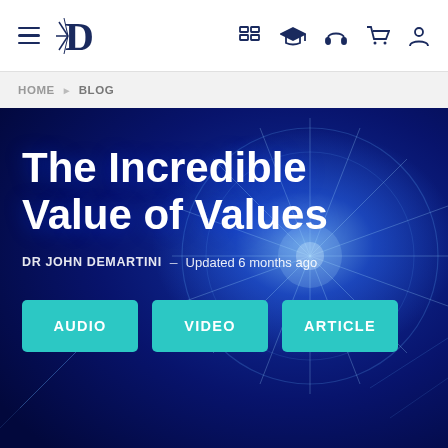Navigation bar with hamburger menu, Demartini logo, and icons for catalog, courses, audio, cart, and account
HOME ▶ BLOG
The Incredible Value of Values
DR JOHN DEMARTINI – Updated 6 months ago
AUDIO  VIDEO  ARTICLE